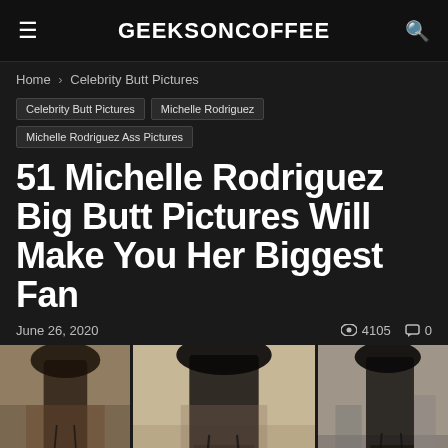GEEKSONCOFFEE
Home › Celebrity Butt Pictures
Celebrity Butt Pictures
Michelle Rodriguez
Michelle Rodriguez Ass Pictures
51 Michelle Rodriguez Big Butt Pictures Will Make You Her Biggest Fan
June 26, 2020   ◉ 4105   🗨 0
[Figure (photo): Three side-by-side photos of Michelle Rodriguez from behind in a black bikini]